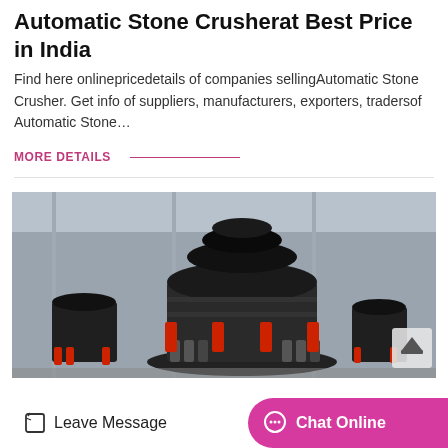Automatic Stone Crusherat Best Price in India
Find here onlinepricedetails of companies sellingAutomatic Stone Crusher. Get info of suppliers, manufacturers, exporters, tradersof Automatic Stone…
MORE DETAILS
[Figure (photo): Industrial stone crusher machine in a warehouse/factory setting. Large black cone crusher with red hydraulic components and coil springs, multiple units visible in background.]
Leave Message
Chat Online